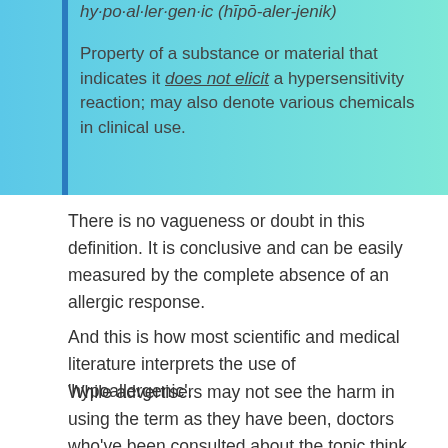hy·po·al·ler·gen·ic (hīpō-aler-jenik)
Property of a substance or material that indicates it does not elicit a hypersensitivity reaction; may also denote various chemicals in clinical use.
There is no vagueness or doubt in this definition. It is conclusive and can be easily measured by the complete absence of an allergic response.
And this is how most scientific and medical literature interprets the use of 'hypoallergenic'.
While advertisers may not see the harm in using the term as they have been, doctors who've been consulted about the topic think otherwise.